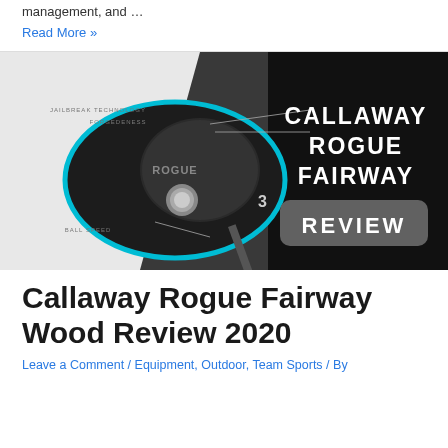management, and …
Read More »
[Figure (photo): Callaway Rogue Fairway Wood golf club product review image. The image shows a black and teal fairway wood club head with annotations pointing to various parts. The right side has a black banner with white text reading 'CALLAWAY ROGUE FAIRWAY' and a gray rounded rectangle badge with 'REVIEW' in white letters.]
Callaway Rogue Fairway Wood Review 2020
Leave a Comment / Equipment, Outdoor, Team Sports / By